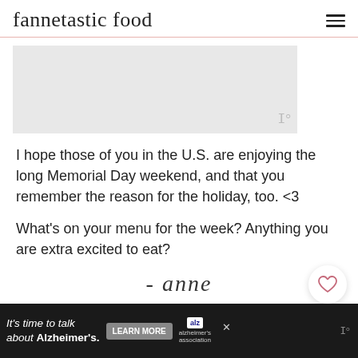fannetastic food
[Figure (photo): Gray image placeholder area with a small 'W°' watermark logo in the bottom right corner]
I hope those of you in the U.S. are enjoying the long Memorial Day weekend, and that you remember the reason for the holiday, too. <3

What's on your menu for the week? Anything you are extra excited to eat?
- anne
[Figure (infographic): Black advertisement bar at the bottom reading: It's time to talk about Alzheimer's. LEARN MORE button. Alzheimer's Association logo. W° logo.]